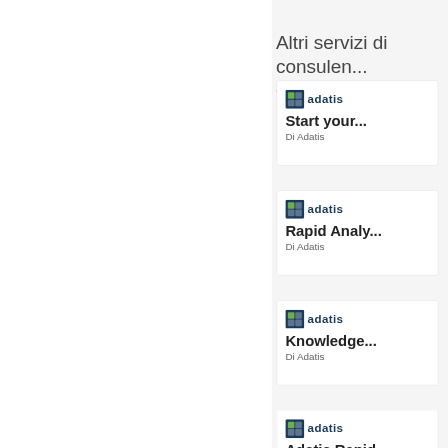Altri servizi di consulen... da Adatis
[Figure (logo): Adatis logo with blue square icon and blue text 'adatis']
Start your...
Di Adatis
[Figure (logo): Adatis logo with blue square icon and blue text 'adatis']
Rapid Analy...
Di Adatis
[Figure (logo): Adatis logo with blue square icon and blue text 'adatis']
Knowledge...
Di Adatis
[Figure (logo): Adatis logo with blue square icon and blue text 'adatis']
Adatis Rapid...
Di Adatis